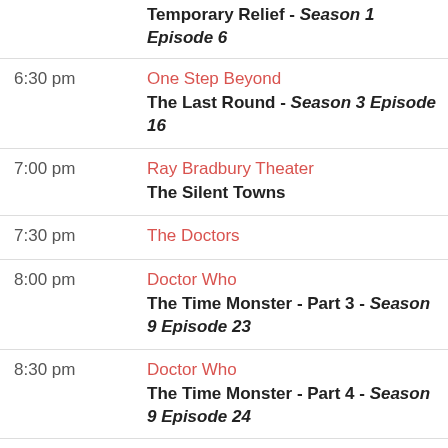| Time | Show / Episode |
| --- | --- |
|  | Temporary Relief - Season 1 Episode 6 |
| 6:30 pm | One Step Beyond
The Last Round - Season 3 Episode 16 |
| 7:00 pm | Ray Bradbury Theater
The Silent Towns |
| 7:30 pm | The Doctors |
| 8:00 pm | Doctor Who
The Time Monster - Part 3 - Season 9 Episode 23 |
| 8:30 pm | Doctor Who
The Time Monster - Part 4 - Season 9 Episode 24 |